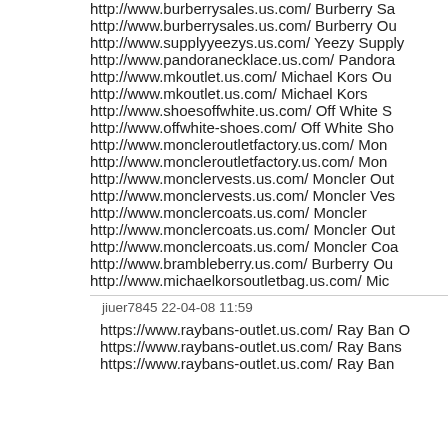http://www.burberrysales.us.com/ Burberry Sa…
http://www.burberrysales.us.com/ Burberry Ou…
http://www.supplyyeezys.us.com/ Yeezy Supply…
http://www.pandoranecklace.us.com/ Pandora…
http://www.mkoutlet.us.com/ Michael Kors Ou…
http://www.mkoutlet.us.com/ Michael Kors
http://www.shoesoffwhite.us.com/ Off White S…
http://www.offwhite-shoes.com/ Off White Sho…
http://www.moncleroutletfactory.us.com/ Mon…
http://www.moncleroutletfactory.us.com/ Mon…
http://www.monclervests.us.com/ Moncler Out…
http://www.monclervests.us.com/ Moncler Ves…
http://www.monclercoats.us.com/ Moncler
http://www.monclercoats.us.com/ Moncler Out…
http://www.monclercoats.us.com/ Moncler Coa…
http://www.brambleberry.us.com/ Burberry Ou…
http://www.michaelkorsoutletbag.us.com/ Mic…
jiuer7845 22-04-08 11:59
https://www.raybans-outlet.us.com/ Ray Ban O…
https://www.raybans-outlet.us.com/ Ray Bans…
https://www.raybans-outlet.us.com/ Ray Ban…